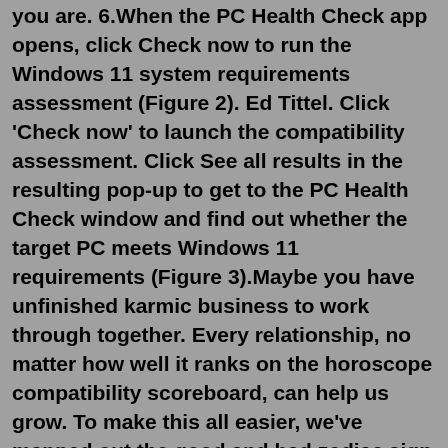you are. 6.When the PC Health Check app opens, click Check now to run the Windows 11 system requirements assessment (Figure 2). Ed Tittel. Click 'Check now' to launch the compatibility assessment. Click See all results in the resulting pop-up to get to the PC Health Check window and find out whether the target PC meets Windows 11 requirements (Figure 3).Maybe you have unfinished karmic business to work through together. Every relationship, no matter how well it ranks on the horoscope compatibility scoreboard, can help us grow. To make this all easier, we've mapped out the good and bad zodiac sign compatibility for all 78 astrology sign combinations.RPCS3 - Compatibility List. Compatibility List. Compatibility List History Builds History. These are the current compatible games that have been tested with the emulator. This list is subject to change frequently. Be sure to check this page often to follow the latest updates. Clicking on a game's ID will redirect you to the respective